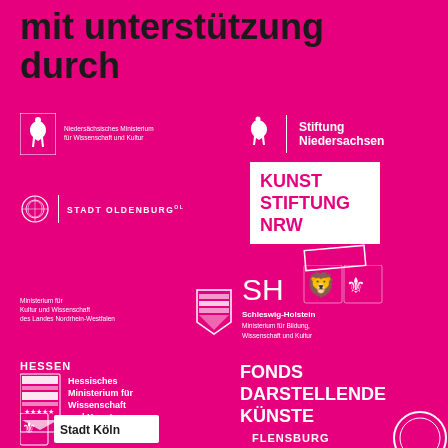mit unterstützung durch
[Figure (logo): Niedersächsisches Ministerium für Wissenschaft und Kultur logo with white horse emblem]
[Figure (logo): Stiftung Niedersachsen logo with white horse and vertical bar]
[Figure (logo): Stadt Oldenburg logo with circular ornament]
[Figure (logo): Kunst Stiftung NRW logo in white box with angled rectangle]
[Figure (logo): Ministerium für Kultur und Wissenschaft des Landes Nordrhein-Westfalen logo with NRW shield]
[Figure (logo): Schleswig-Holstein Ministerium für Bildung, Wissenschaft und Kultur logo with SH letters and heraldic animals]
[Figure (logo): Hessen Hessisches Ministerium für Wissenschaft und Kunst logo with coat of arms]
[Figure (logo): Fonds Darstellende Künste logo]
[Figure (logo): Stadt Köln logo]
[Figure (logo): Flensburg logo (partially visible)]
[Figure (logo): Circular logo (partially visible at bottom right)]